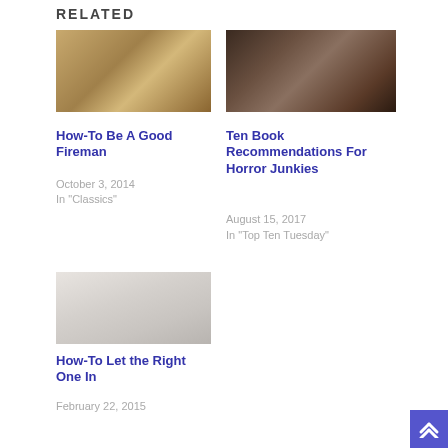Related
[Figure (photo): Open book with a matchstick lying on top of the pages]
How-To Be A Good Fireman
October 3, 2014
In "Classics"
[Figure (photo): A smiling skeleton/skull against a dark wooden background]
Ten Book Recommendations For Horror Junkies
August 15, 2017
In "Top Ten Tuesday"
[Figure (photo): Close-up of a book page with poetry text]
How-To Let the Right One In
February 22, 2015